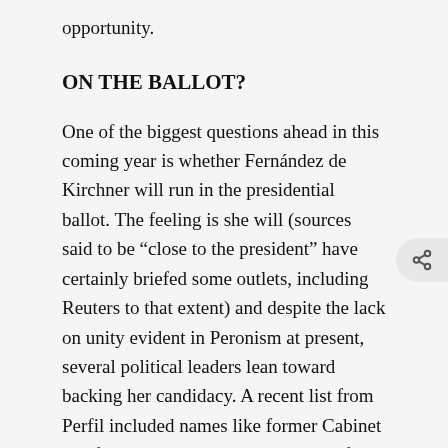opportunity.
ON THE BALLOT?
One of the biggest questions ahead in this coming year is whether Fernández de Kirchner will run in the presidential ballot. The feeling is she will (sources said to be “close to the president” have certainly briefed some outlets, including Reuters to that extent) and despite the lack on unity evident in Peronism at present, several political leaders lean toward backing her candidacy. A recent list from Perfil included names like former Cabinet chief Alberto Fernández, the leader of the Kirchnerite caucus in the lower house, Agustín